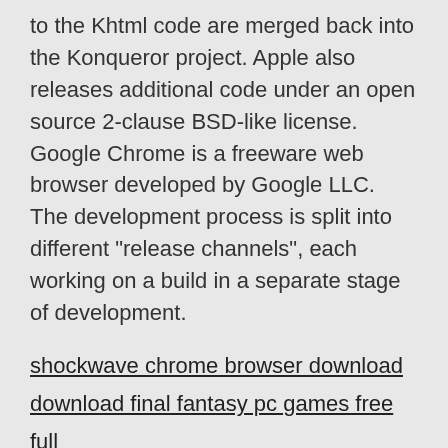to the Khtml code are merged back into the Konqueror project. Apple also releases additional code under an open source 2-clause BSD-like license. Google Chrome is a freeware web browser developed by Google LLC. The development process is split into different "release channels", each working on a build in a separate stage of development.
shockwave chrome browser download
download final fantasy pc games free full
torrent upload and download
mechanical drafting fonts download for android
visual studio cannot download android sdk
latest java version windows 10 download
a1 movie download hd torrent
jjkodfe
jjkodfe
jjkodfe
jjkodfe